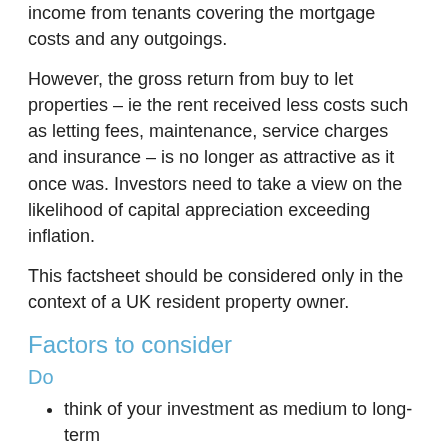income from tenants covering the mortgage costs and any outgoings.
However, the gross return from buy to let properties – ie the rent received less costs such as letting fees, maintenance, service charges and insurance – is no longer as attractive as it once was. Investors need to take a view on the likelihood of capital appreciation exceeding inflation.
This factsheet should be considered only in the context of a UK resident property owner.
Factors to consider
Do
think of your investment as medium to long-term
research the local market
do your sums carefully
consider decorating to a high standard to attract tenants quickly.